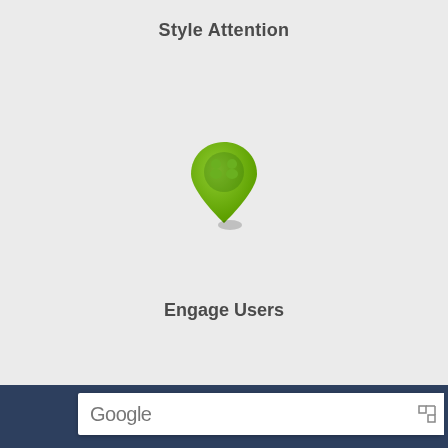Style Attention
[Figure (illustration): Green map pin / location marker icon with two people (users) silhouette on it]
Engage Users
[Figure (illustration): Red map pin / location marker icon with a house icon on it]
Easy Start
[Figure (screenshot): Bottom strip showing Google Maps interface with dark navy background and white Google search bar]
Google